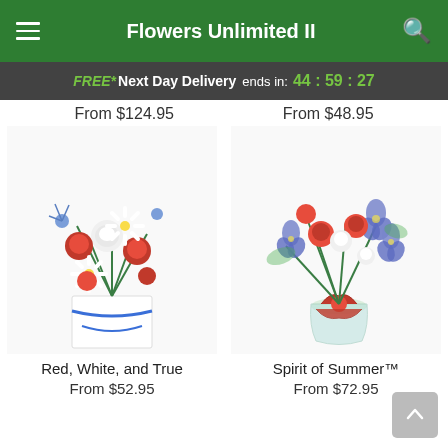Flowers Unlimited II
FREE* Next Day Delivery ends in: 44:59:27
From $124.95  From $48.95
[Figure (photo): Red, White, and True flower arrangement in white box with blue ribbon, featuring red roses, white daisies, red carnations, and blue thistle]
[Figure (photo): Spirit of Summer flower arrangement in glass vase with red ribbon bow, featuring red carnations, blue iris, white stock flowers and greenery]
Red, White, and True
From $52.95
Spirit of Summer™
From $72.95